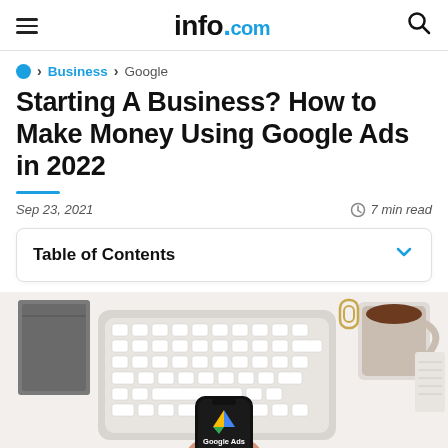info.com
● > Business > Google
Starting A Business? How to Make Money Using Google Ads in 2022
Sep 23, 2021   7 min read
Table of Contents
[Figure (photo): Overhead desk scene: white Apple keyboard, hand holding smartphone displaying Google Ads logo, coffee mug, notebook, paper clips on white background]